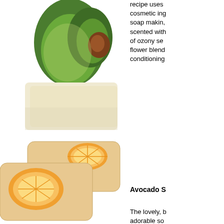[Figure (photo): Photo of soap bar with avocado fruit behind it, white background]
recipe uses cosmetic ing soap makin, scented with of ozony se flower blend conditioning
[Figure (photo): Photo of two orange citrus soap bars with orange slice embeds on top, peachy colored soap]
Avocado S
The lovely, b adorable so bar blends swirls white like a juicy s Oil. This sce cute citrus s